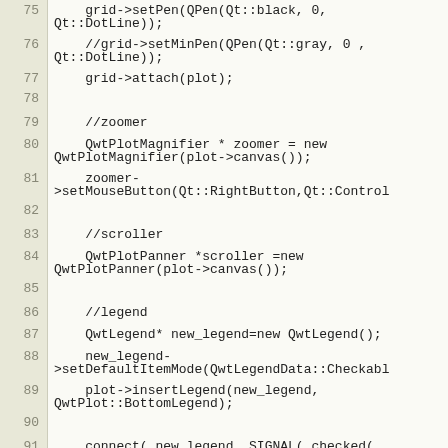75    grid->setPen(QPen(Qt::black, 0, Qt::DotLine));
76    //grid->setMinPen(QPen(Qt::gray, 0 , Qt::DotLine));
77    grid->attach(plot);
78
79    //zoomer
80    QwtPlotMagnifier * zoomer = new QwtPlotMagnifier(plot->canvas());
81    zoomer->setMouseButton(Qt::RightButton,Qt::Control
82
83    //scroller
84    QwtPlotPanner *scroller =new QwtPlotPanner(plot->canvas());
85
86    //legend
87    QwtLegend* new_legend=new QwtLegend();
88    new_legend->setDefaultItemMode(QwtLegendData::Checkabl
89    plot->insertLegend(new_legend, QwtPlot::BottomLegend);
90
91    connect( new_legend, SIGNAL( checked(